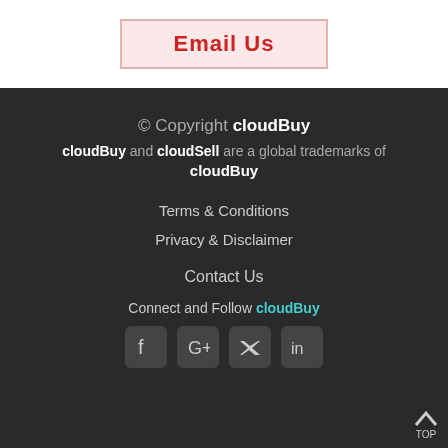Email Us
© Copyright cloudBuy
cloudBuy and cloudSell are a global trademarks of
cloudBuy
Terms & Conditions
Privacy & Disclaimer
Contact Us
Connect and Follow cloudBuy